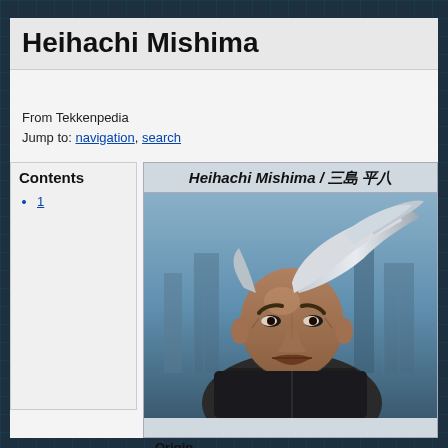Heihachi Mishima
From Tekkenpedia
Jump to: navigation, search
Contents
1
Heihachi Mishima / 三島 平八
[Figure (photo): Portrait illustration of Heihachi Mishima, an older muscular man with wild white hair, stern expression, wearing dark clothing, against a city background]
Origin